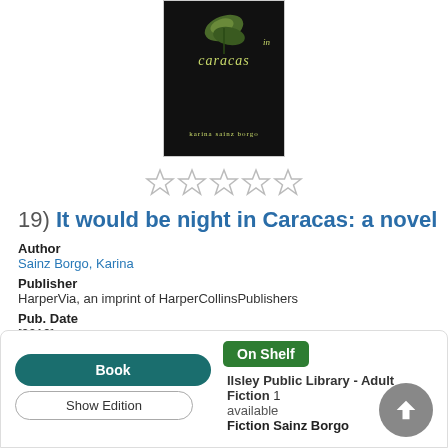[Figure (illustration): Book cover of 'It Would Be Night in Caracas' by Karina Sainz Borgo — dark/black background with illustrated green/yellow leaves and stylized title text in yellow-green italic font.]
★★★★★ (5 empty stars rating)
19) It would be night in Caracas: a novel
Author
Sainz Borgo, Karina
Publisher
HarperVia, an imprint of HarperCollinsPublishers
Pub. Date
[2019]
Edition
First edition.
Physical Desc
229 pages ; 22 cm
Language
English
Book | On Shelf | Ilsley Public Library - Adult Fiction 1 available | Fiction Sainz Borgo